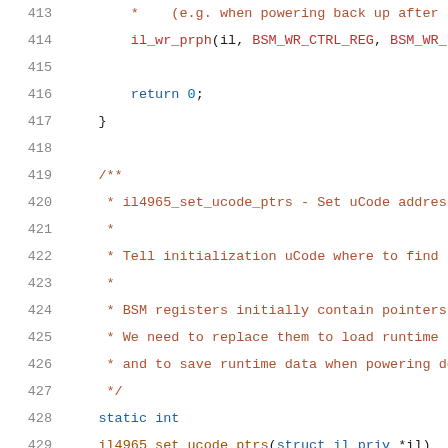[Figure (screenshot): Source code listing showing lines 413-434 of a C file, featuring a comment block and function definition for il4965_set_ucode_ptrs. Line numbers shown in gray on left, keywords in blue, comments in red/brown, identifiers in dark red.]